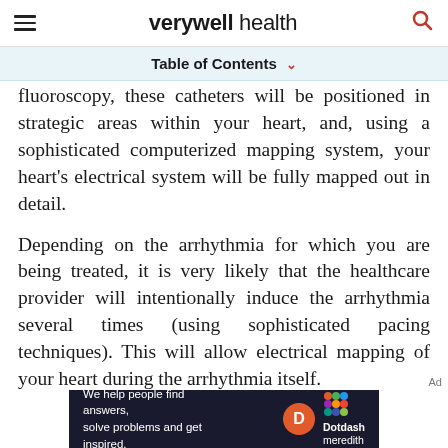verywell health
Table of Contents
fluoroscopy, these catheters will be positioned in strategic areas within your heart, and, using a sophisticated computerized mapping system, your heart’s electrical system will be fully mapped out in detail.
Depending on the arrhythmia for which you are being treated, it is very likely that the healthcare provider will intentionally induce the arrhythmia several times (using sophisticated pacing techniques). This will allow electrical mapping of your heart during the arrhythmia itself.
[Figure (other): Dotdash Meredith advertisement banner: 'We help people find answers, solve problems and get inspired.' with D logo and colorful dots logo.]